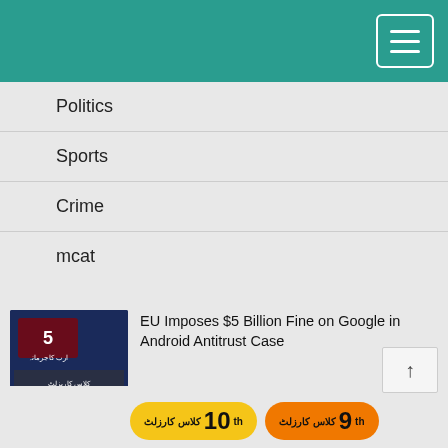Navigation menu header bar
Politics
Sports
Crime
mcat
[Figure (photo): Thumbnail for EU Google antitrust article — dark background with Urdu text and gavel imagery]
EU Imposes $5 Billion Fine on Google in Android Antitrust Case
[Figure (photo): Thumbnail for Malala article — woman in yellow headscarf at microphone on pink/purple background]
Apple Is Partnering With Malala's Non-Profit to Educate More Than 100,000 Girls
[Figure (photo): Thumbnail for third article — person on grey background]
Bal... er Incredible Human Social Mo...
[Figure (infographic): Advertisement badges: yellow badge '10th class ka result' and orange badge '9th class ka result']